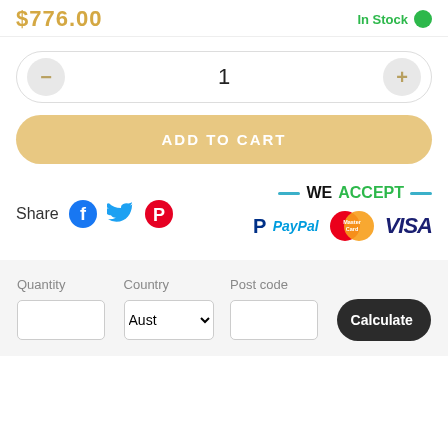$776.00  In Stock
1
ADD TO CART
Share
[Figure (infographic): Payment methods: WE ACCEPT — PayPal, MasterCard, VISA]
| Quantity | Country | Post code |  |
| --- | --- | --- | --- |
|  | Aust |  | Calculate |